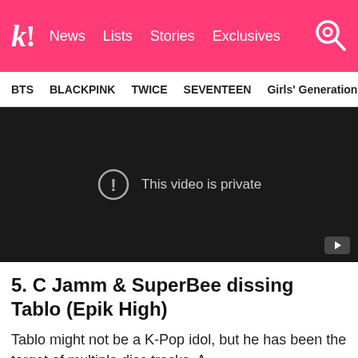k! News | Lists | Stories | Exclusives
BTS | BLACKPINK | TWICE | SEVENTEEN | Girls' Generation
[Figure (screenshot): Embedded video player showing 'This video is private' message on a dark background with a YouTube play button in the bottom right corner.]
5. C Jamm & SuperBee dissing Tablo (Epik High)
Tablo might not be a K-Pop idol, but he has been the target of multiple diss tracks. A